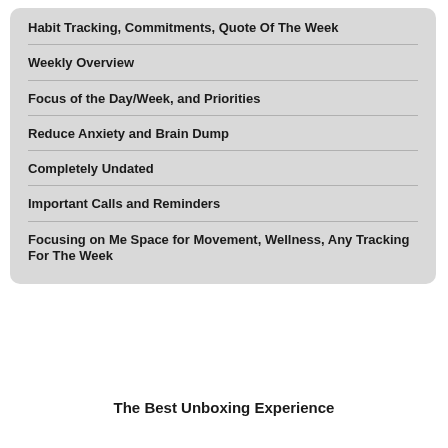Habit Tracking, Commitments, Quote Of The Week
Weekly Overview
Focus of the Day/Week, and Priorities
Reduce Anxiety and Brain Dump
Completely Undated
Important Calls and Reminders
Focusing on Me Space for Movement, Wellness, Any Tracking For The Week
The Best Unboxing Experience